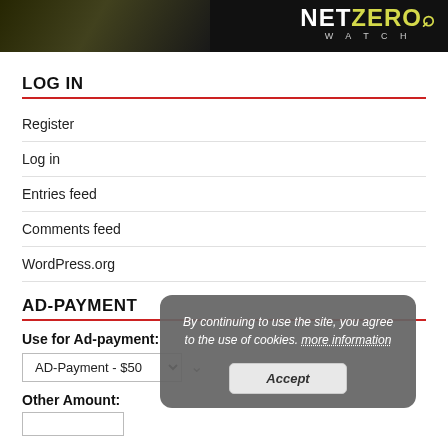[Figure (logo): Net Zero Watch logo — white and yellow-green text on black banner header]
LOG IN
Register
Log in
Entries feed
Comments feed
WordPress.org
AD-PAYMENT
Use for Ad-payment:
AD-Payment - $50
Other Amount:
By continuing to use the site, you agree to the use of cookies. more information
Accept